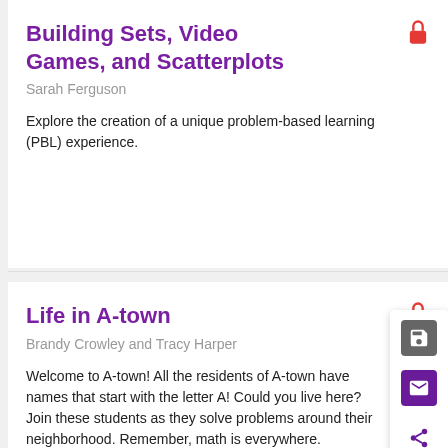Building Sets, Video Games, and Scatterplots
Sarah Ferguson
Explore the creation of a unique problem-based learning (PBL) experience.
Life in A-town
Brandy Crowley and Tracy Harper
Welcome to A-town! All the residents of A-town have names that start with the letter A! Could you live here? Join these students as they solve problems around their neighborhood. Remember, math is everywhere.